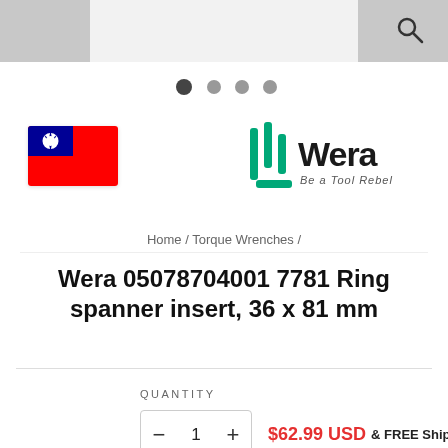[Figure (screenshot): Top gray navigation bar with white center strip and search icon (magnifying glass) at top right]
[Figure (other): Pagination dots: one filled dark circle followed by three lighter circles]
[Figure (photo): Taiwan flag (red background with blue canton and white sun)]
[Figure (logo): Wera logo: green stylized tool icon and bold black 'Wera' text with tagline 'Be a Tool Rebel']
Home / Torque Wrenches /
Wera 05078704001 7781 Ring spanner insert, 36 x 81 mm
QUANTITY
1
$62.99 USD & FREE Shipping.